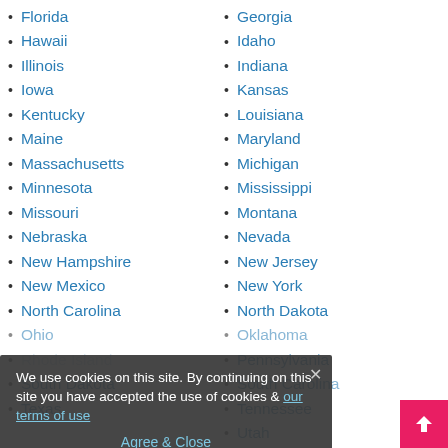Florida
Georgia
Hawaii
Idaho
Illinois
Indiana
Iowa
Kansas
Kentucky
Louisiana
Maine
Maryland
Massachusetts
Michigan
Minnesota
Mississippi
Missouri
Montana
Nebraska
Nevada
New Hampshire
New Jersey
New Mexico
New York
North Carolina
North Dakota
Ohio
Oklahoma
Pennsylvania
South Carolina
South Dakota
Tennessee
Texas
Utah
We use cookies on this site. By continuing on this site you have accepted the use of cookies & our terms of use